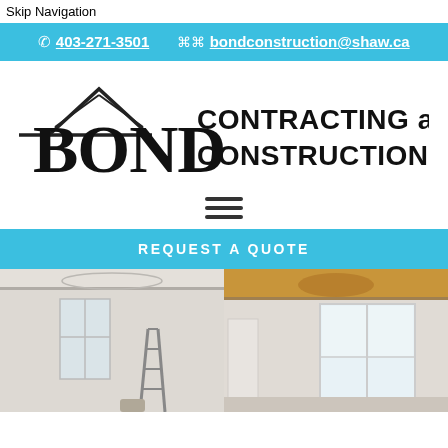Skip Navigation
403-271-3501   bondconstruction@shaw.ca
[Figure (logo): Bond Contracting and Construction Inc. logo with house roof outline above the word BOND in bold serif font, and CONTRACTING and CONSTRUCTION Inc. text to the right.]
≡ (hamburger menu icon)
REQUEST A QUOTE
[Figure (photo): Split interior renovation photo: left side shows a room under construction with a stepladder and ornate ceiling molding, right side shows a finished bright room with large white-framed windows and gold/orange ceiling detail.]